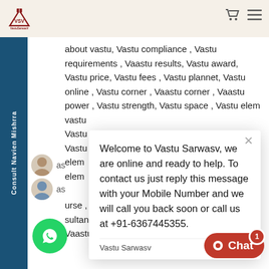VastuSarwasV logo and navigation
about vastu, Vastu compliance , Vastu requirements , Vaastu results, Vastu award, Vastu price, Vastu fees , Vastu plannet, Vastu online , Vastu corner , Vaastu corner , Vaastu power , Vastu strength, Vastu space , Vastu elem vastu Vastu Vastu elem elem
Welcome to Vastu Sarwasv, we are online and ready to help. To contact us just reply this message with your Mobile Number and we will call you back soon or call us at +91-6367445355.
Vastu Sarwasv   just now
urse , Vaastu consultation, Vaastu sultant , Vaastu products, Vaast Vaastu tip, Vaastu kala, Vaastu art,